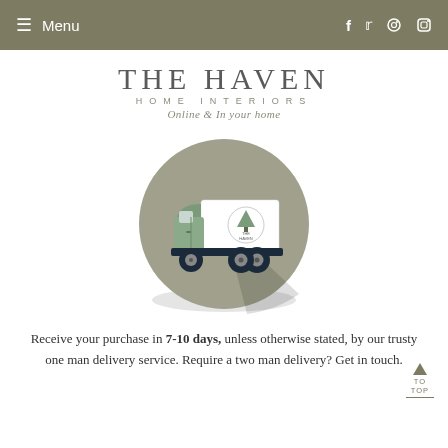≡ Menu  f  t  ⊕  📷
THE HAVEN HOME INTERIORS Online & In your home
[Figure (illustration): A delivery truck illustration with The Haven Home Interiors branding, shown inside a grey circle with a shadow effect. The truck is green and dark navy with a white cargo box bearing the company tree logo.]
Receive your purchase in 7-10 days, unless otherwise stated, by our trusty one man delivery service. Require a two man delivery? Get in touch.